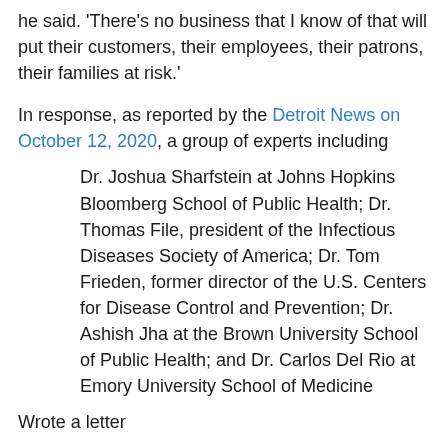he said. 'There's no business that I know of that will put their customers, their employees, their patrons, their families at risk.'
In response, as reported by the Detroit News on October 12, 2020, a group of experts including
Dr. Joshua Sharfstein at Johns Hopkins Bloomberg School of Public Health; Dr. Thomas File, president of the Infectious Diseases Society of America; Dr. Tom Frieden, former director of the U.S. Centers for Disease Control and Prevention; Dr. Ashish Jha at the Brown University School of Public Health; and Dr. Carlos Del Rio at Emory University School of Medicine
Wrote a letter
'If 'herd immunity' were to begin after about 80% of the state's population has been infected, as some believe, then 6.5 million more Michiganders would still need to contract COVID-19,' the experts wrote. 'At the current mortality rate, this